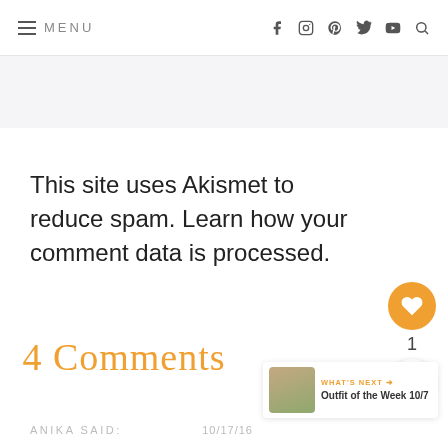≡ MENU
[Figure (screenshot): Light grey banner/advertisement area]
This site uses Akismet to reduce spam. Learn how your comment data is processed.
4 Comments
ANIKA SAID:
10/17/16
[Figure (infographic): Orange heart like button with count of 1 and share button]
[Figure (photo): What's Next card: Outfit of the Week 10/7 with person photo thumbnail]